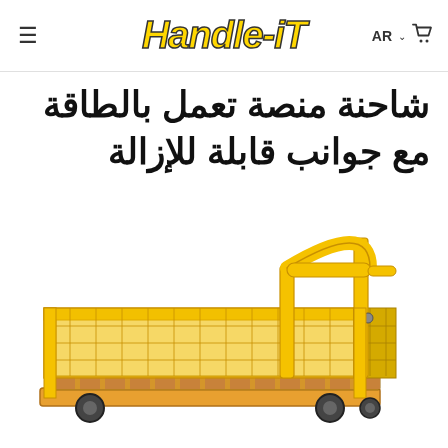Handle-iT
شاحنة منصة تعمل بالطاقة مع جوانب قابلة للإزالة
[Figure (photo): Yellow powered platform truck with removable sides, showing a rectangular cage/basket structure on wheels with mesh sides and a handle bar at the back.]